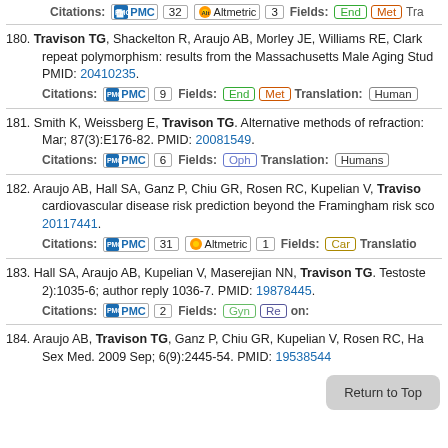Citations: PMC 32 | Altmetric 3 | Fields: End Met Tra...
180. Travison TG, Shackelton R, Araujo AB, Morley JE, Williams RE, Clark... repeat polymorphism: results from the Massachusetts Male Aging Stud... PMID: 20410235.
Citations: PMC 9 | Fields: End Met | Translation: Human...
181. Smith K, Weissberg E, Travison TG. Alternative methods of refraction:... Mar; 87(3):E176-82. PMID: 20081549.
Citations: PMC 6 | Fields: Oph | Translation: Humans
182. Araujo AB, Hall SA, Ganz P, Chiu GR, Rosen RC, Kupelian V, Traviso... cardiovascular disease risk prediction beyond the Framingham risk sco... 20117441.
Citations: PMC 31 | Altmetric 1 | Fields: Car | Translatio...
183. Hall SA, Araujo AB, Kupelian V, Maserejian NN, Travison TG. Testoste... 2):1035-6; author reply 1036-7. PMID: 19878445.
Citations: PMC 2 | Fields: Gyn Re... | on: ...
184. Araujo AB, Travison TG, Ganz P, Chiu GR, Kupelian V, Rosen RC, Ha... Sex Med. 2009 Sep; 6(9):2445-54. PMID: 19538544